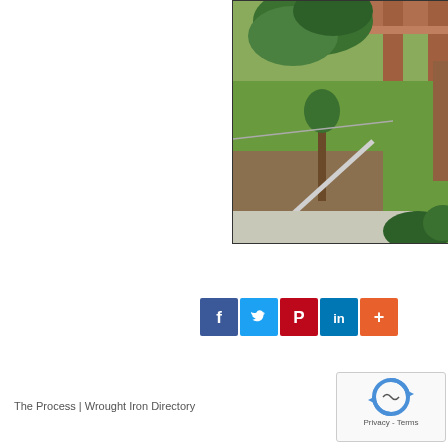[Figure (photo): Outdoor photo showing a yard with green grass, trees, bare dirt area with a small tree, concrete path, wooden structure (deck or house overhang) at top, and green shrubbery at bottom right.]
[Figure (infographic): Social media sharing buttons: Facebook (blue, f), Twitter (light blue, bird), Pinterest (red, P), LinkedIn (blue, in), More/share (orange-red, +)]
The Process | Wrought Iron Directory
[Figure (screenshot): reCAPTCHA widget box with spinning arrows logo and 'Privacy - Terms' text at bottom]